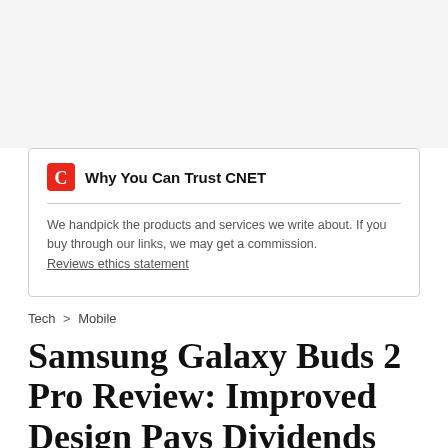Why You Can Trust CNET
We handpick the products and services we write about. If you buy through our links, we may get a commission. Reviews ethics statement
Tech > Mobile
Samsung Galaxy Buds 2 Pro Review: Improved Design Pays Dividends